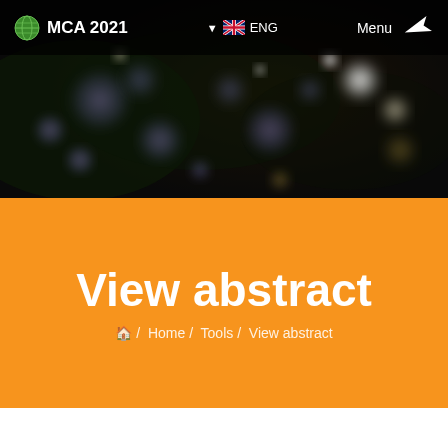[Figure (screenshot): Dark night-time bokeh photo showing blurred lights and foliage in the background, used as hero image for MCA 2021 website]
MCA 2021   ▼ ENG   Menu
View abstract
🏠 /  Home /  Tools /  View abstract